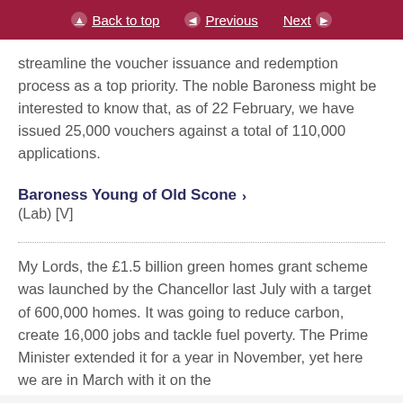Back to top | Previous | Next
streamline the voucher issuance and redemption process as a top priority. The noble Baroness might be interested to know that, as of 22 February, we have issued 25,000 vouchers against a total of 110,000 applications.
Baroness Young of Old Scone
(Lab) [V]
My Lords, the £1.5 billion green homes grant scheme was launched by the Chancellor last July with a target of 600,000 homes. It was going to reduce carbon, create 16,000 jobs and tackle fuel poverty. The Prime Minister extended it for a year in November, yet here we are in March with it on the